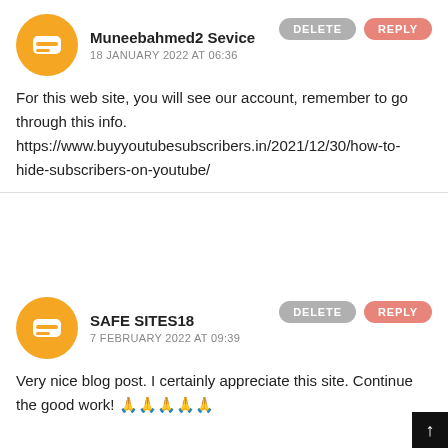Muneebahmed2 Sevice
18 JANUARY 2022 AT 06:36
For this web site, you will see our account, remember to go through this info. https://www.buyyoutubesubscribers.in/2021/12/30/how-to-hide-subscribers-on-youtube/
SAFE SITES18
7 FEBRUARY 2022 AT 09:39
Very nice blog post. I certainly appreciate this site. Continue the good work! 🙏🙏🙏🙏🙏